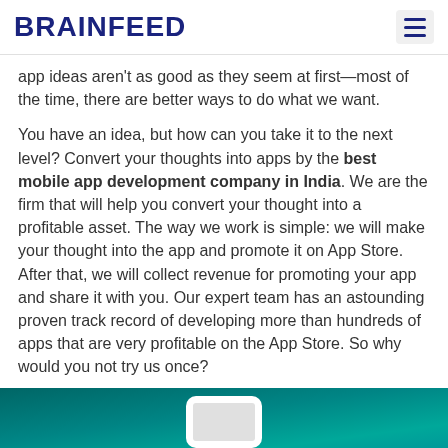BRAINFEED
app ideas aren't as good as they seem at first—most of the time, there are better ways to do what we want.
You have an idea, but how can you take it to the next level? Convert your thoughts into apps by the best mobile app development company in India. We are the firm that will help you convert your thought into a profitable asset. The way we work is simple: we will make your thought into the app and promote it on App Store. After that, we will collect revenue for promoting your app and share it with you. Our expert team has an astounding proven track record of developing more than hundreds of apps that are very profitable on the App Store. So why would you not try us once?
[Figure (photo): Teal/green background with a white smartphone displayed at the bottom of the page]